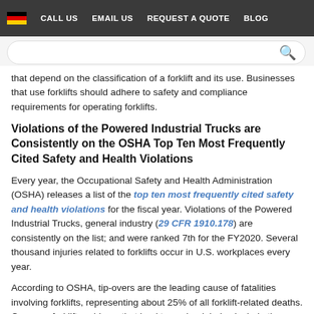CALL US  EMAIL US  REQUEST A QUOTE  BLOG
that depend on the classification of a forklift and its use. Businesses that use forklifts should adhere to safety and compliance requirements for operating forklifts.
Violations of the Powered Industrial Trucks are Consistently on the OSHA Top Ten Most Frequently Cited Safety and Health Violations
Every year, the Occupational Safety and Health Administration (OSHA) releases a list of the top ten most frequently cited safety and health violations for the fiscal year. Violations of the Powered Industrial Trucks, general industry (29 CFR 1910.178) are consistently on the list; and were ranked 7th for the FY2020. Several thousand injuries related to forklifts occur in U.S. workplaces every year.
According to OSHA, tip-overs are the leading cause of fatalities involving forklifts, representing about 25% of all forklift-related deaths. Common forklift problems that lead to worker injuries include three directly related to employer